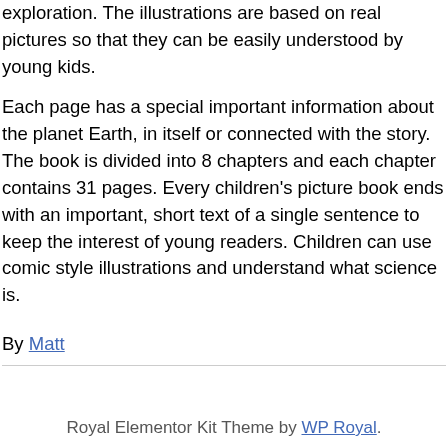exploration. The illustrations are based on real pictures so that they can be easily understood by young kids.
Each page has a special important information about the planet Earth, in itself or connected with the story. The book is divided into 8 chapters and each chapter contains 31 pages. Every children's picture book ends with an important, short text of a single sentence to keep the interest of young readers. Children can use comic style illustrations and understand what science is.
By Matt
Royal Elementor Kit Theme by WP Royal.